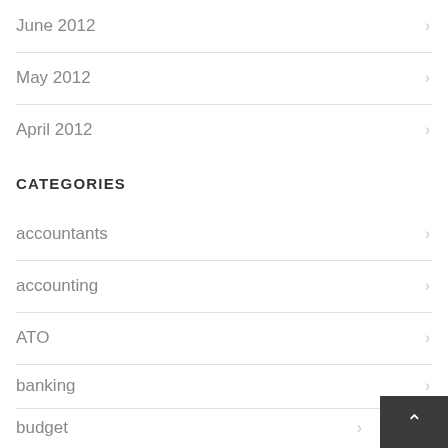June 2012
May 2012
April 2012
CATEGORIES
accountants
accounting
ATO
banking
budget